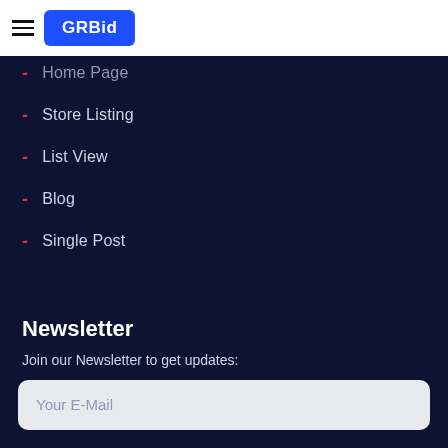GRBid
Home Page
Store Listing
List View
Blog
Single Post
Newsletter
Join our Newsletter to get updates:
Your E-Mail